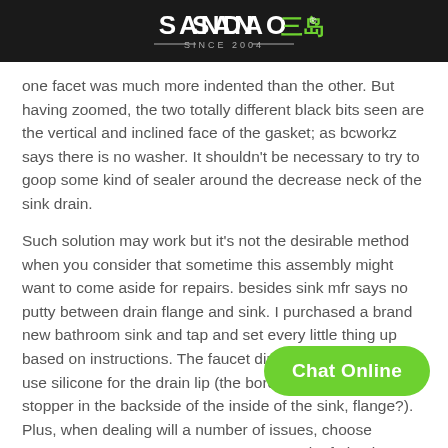SANDAO 三岛 SINCE 2004
one facet was much more indented than the other. But having zoomed, the two totally different black bits seen are the vertical and inclined face of the gasket; as bcworkz says there is no washer. It shouldn't be necessary to try to goop some kind of sealer around the decrease neck of the sink drain.
Such solution may work but it's not the desirable method when you consider that sometime this assembly might want to come aside for repairs. besides sink mfr says no putty between drain flange and sink. I purchased a brand new bathroom sink and tap and set every little thing up based on instructions. The faucet directions advised me to use silicone for the drain lip (the border thing across the stopper in the backside of the inside of the sink, flange?). Plus, when dealing will a number of issues, choose a... putty as a result of plumber's putty only works best for various...
Chat Online